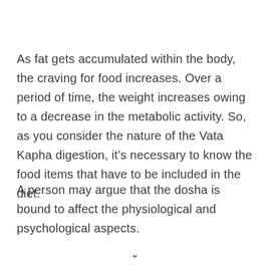As fat gets accumulated within the body, the craving for food increases. Over a period of time, the weight increases owing to a decrease in the metabolic activity. So, as you consider the nature of the Vata Kapha digestion, it’s necessary to know the food items that have to be included in the diet.
A person may argue that the dosha is bound to affect the physiological and psychological aspects.